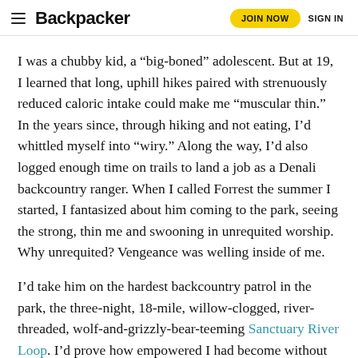Backpacker | JOIN NOW | SIGN IN
I was a chubby kid, a “big-boned” adolescent. But at 19, I learned that long, uphill hikes paired with strenuously reduced caloric intake could make me “muscular thin.” In the years since, through hiking and not eating, I’d whittled myself into “wiry.” Along the way, I’d also logged enough time on trails to land a job as a Denali backcountry ranger. When I called Forrest the summer I started, I fantasized about him coming to the park, seeing the strong, thin me and swooning in unrequited worship. Why unrequited? Vengeance was welling inside of me.
I’d take him on the hardest backcountry patrol in the park, the three-night, 18-mile, willow-clogged, river-threaded, wolf-and-grizzly-bear-teeming Sanctuary River Loop. I’d prove how empowered I had become without him.